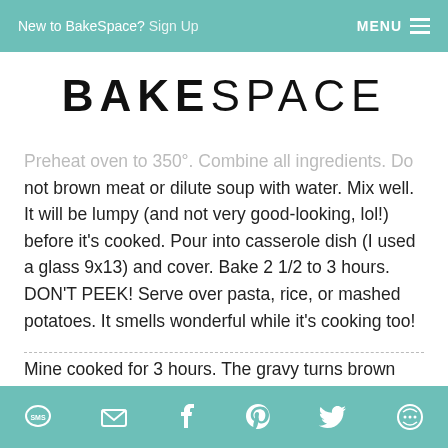New to BakeSpace? Sign Up    MENU
BAKESPACE
Preheat oven to 350°. Combine all ingredients. Do not brown meat or dilute soup with water. Mix well. It will be lumpy (and not very good-looking, lol!) before it's cooked. Pour into casserole dish (I used a glass 9x13) and cover. Bake 2 1/2 to 3 hours. DON'T PEEK! Serve over pasta, rice, or mashed potatoes. It smells wonderful while it's cooking too!
Mine cooked for 3 hours. The gravy turns brown and delicious! Steve and I had rice, Jeff had noodles. No left-overs!
SMS  Email  Facebook  Pinterest  Twitter  Share